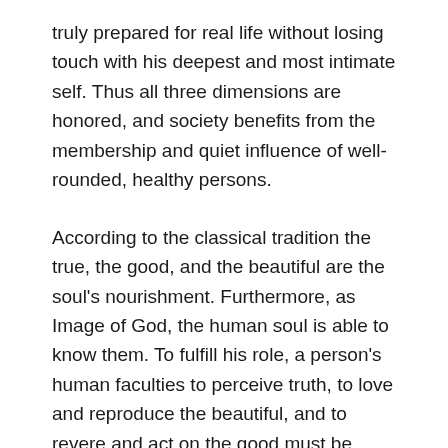truly prepared for real life without losing touch with his deepest and most intimate self. Thus all three dimensions are honored, and society benefits from the membership and quiet influence of well-rounded, healthy persons.
According to the classical tradition the true, the good, and the beautiful are the soul's nourishment. Furthermore, as Image of God, the human soul is able to know them. To fulfill his role, a person's human faculties to perceive truth, to love and reproduce the beautiful, and to revere and act on the good must be cultivated. When a faculty is refined to a pitch of excellence, it becomes a virtue, such as wisdom or kindness. Christian classical education cultivates the human capacity to know and act on this holy